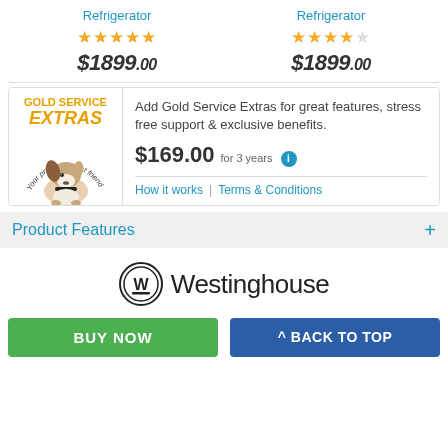Refrigerator (left) — ★★★★★ — $1899.00
Refrigerator (right) — ★★★★½ — $1899.00
GOLD SERVICE EXTRAS — Add Gold Service Extras for great features, stress free support & exclusive benefits. $169.00 for 3 years
Product Features
[Figure (logo): Westinghouse brand logo with circular W emblem and Westinghouse wordmark]
BUY NOW
^ BACK TO TOP